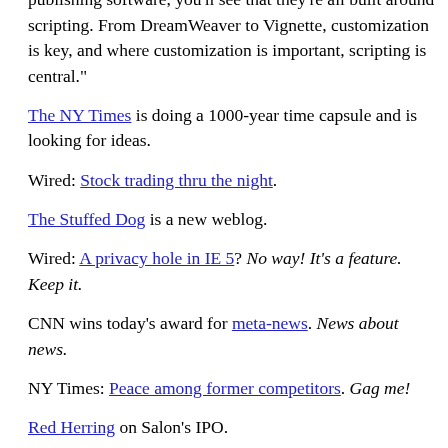Tidbits piece. "If you look at the competitive landscape in publishing software, you'll see that they're all built around scripting. From DreamWeaver to Vignette, customization is key, and where customization is important, scripting is central."
The NY Times is doing a 1000-year time capsule and is looking for ideas.
Wired: Stock trading thru the night.
The Stuffed Dog is a new weblog.
Wired: A privacy hole in IE 5? No way! It's a feature. Keep it.
CNN wins today's award for meta-news. News about news.
NY Times: Peace among former competitors. Gag me!
Red Herring on Salon's IPO.
4/8/99: Al Gore sticks his foot in his mouth again.
Infoworld: DataChannel, Isogen merge.